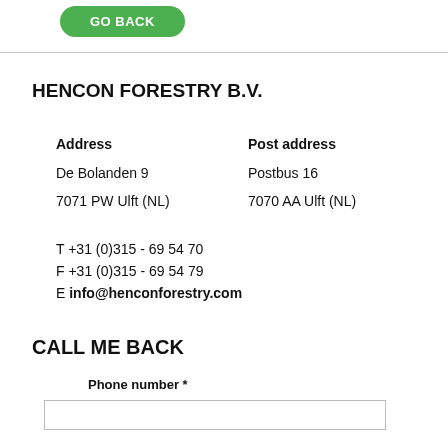[Figure (other): Green 'GO BACK' button]
HENCON FORESTRY B.V.
Address
Post address
De Bolanden 9
Postbus 16
7071 PW Ulft (NL)
7070 AA Ulft (NL)
T +31 (0)315 - 69 54 70
F +31 (0)315 - 69 54 79
E info@henconforestry.com
CALL ME BACK
Phone number *